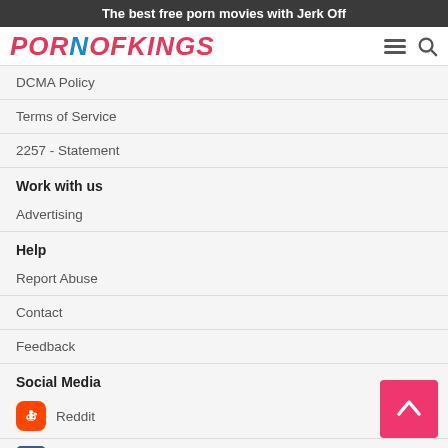The best free porn movies with Jerk Off
[Figure (logo): PORNOFKINGS logo in pink and blue italic letters]
DCMA Policy
Terms of Service
2257 - Statement
Work with us
Advertising
Help
Report Abuse
Contact
Feedback
Social Media
Reddit
Facebook